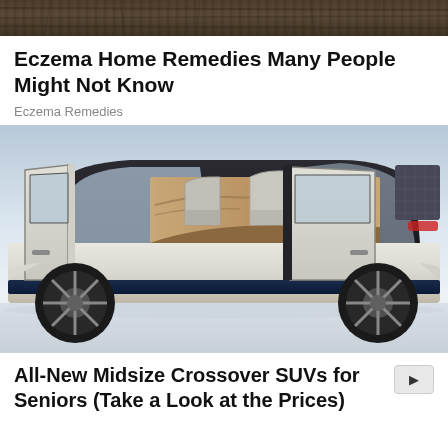[Figure (photo): Dark textured bark or wood surface image cropped at top of page]
Eczema Home Remedies Many People Might Not Know
Eczema Remedies
[Figure (photo): Concept luxury SUV with all doors open showing interior seating, side view on snowy/grey background]
All-New Midsize Crossover SUVs for Seniors (Take a Look at the Prices)